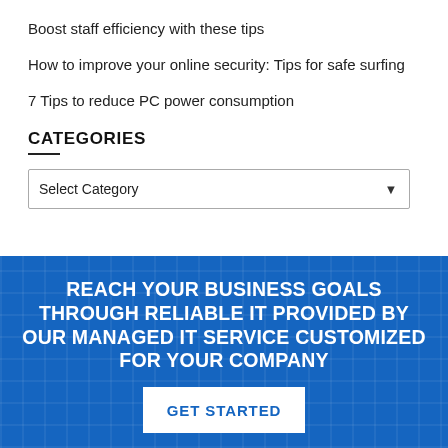Boost staff efficiency with these tips
How to improve your online security: Tips for safe surfing
7 Tips to reduce PC power consumption
CATEGORIES
Select Category
REACH YOUR BUSINESS GOALS THROUGH RELIABLE IT PROVIDED BY OUR MANAGED IT SERVICE CUSTOMIZED FOR YOUR COMPANY
GET STARTED